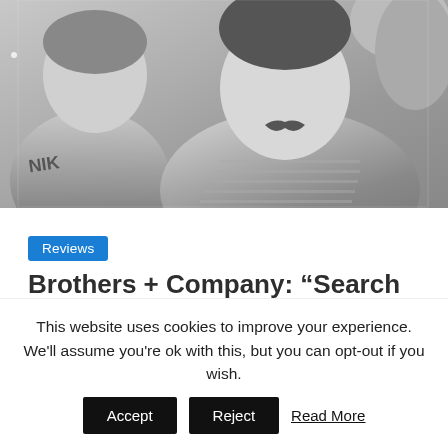[Figure (photo): Black and white photo of two young men, one wearing a Nike jacket/shirt on the left, and another with a mustache in a striped shirt on the right. Photo is cropped showing their upper bodies and faces.]
Reviews
Brothers + Company: “Search Team” – a force to be reckoned with!
March 13, 2016   staff
This website uses cookies to improve your experience. We'll assume you're ok with this, but you can opt-out if you wish.
Accept  Reject  Read More